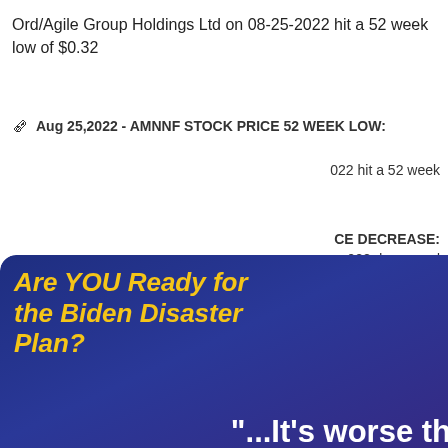Ord/Agile Group Holdings Ltd on 08-25-2022 hit a 52 week low of $0.32
Aug 25,2022 - AMNNF STOCK PRICE 52 WEEK LOW:
022 hit a 52 week
CE DECREASE: 022 decreased
RICE DECREASE: c. on 08-25-2022 to $0.18
RICE INCREASE:
Ord/Arcan Crypto AB on 08-25-2022 increased stock
[Figure (infographic): Popup advertisement with dark blue/purple background showing 'Are YOU Ready for the Biden Disaster Plan?' in yellow italic bold text, followed by white quote text '"...It's worse than you think."' and attribution '—Dr. Mark Skousen', with a red 'CLICK HERE TO WATCH >' button at bottom. Has a close X button in top-right corner.]